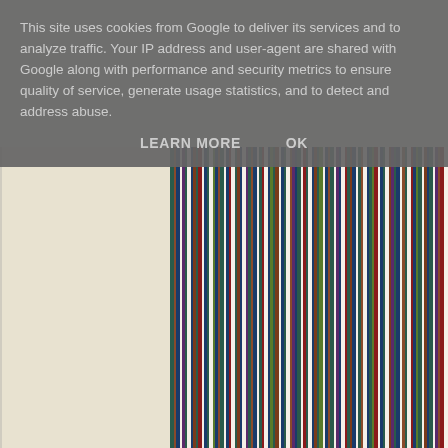This site uses cookies from Google to deliver its services and to analyze traffic. Your IP address and user-agent are shared with Google along with performance and security metrics to ensure quality of service, generate usage statistics, and to detect and address abuse.
LEARN MORE   OK
[Figure (illustration): Partial view of a painting with vertical colored stripes (blues, greens, reds, whites, browns) on the right portion, and a plain cream/beige area on the left portion, with a white vertical strip between them.]